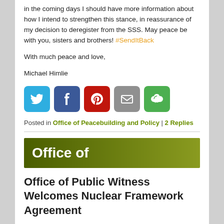in the coming days I should have more information about how I intend to strengthen this stance, in reassurance of my decision to deregister from the SSS. May peace be with you, sisters and brothers! #SendItBack
With much peace and love,
Michael Himlie
[Figure (other): Social sharing buttons: Twitter (blue bird), Facebook (blue f), Pinterest (red P), Email (grey envelope), More (green circular arrows)]
Posted in Office of Peacebuilding and Policy | 2 Replies
[Figure (other): Dark olive green gradient banner with white bold text reading 'Office of']
Office of Public Witness Welcomes Nuclear Framework Agreement